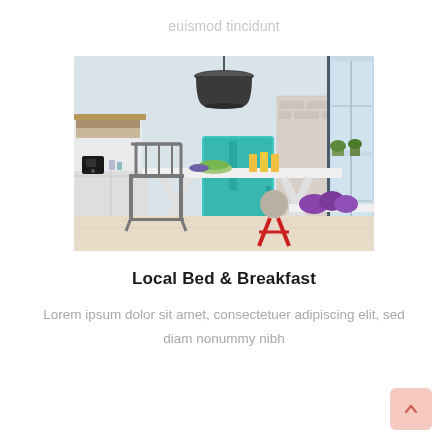euismod tincidunt
[Figure (photo): Bright modern kitchen/dining area with a white farmhouse table, grey metal chair, red stool, turquoise retro refrigerator, pendant light, brick wall, and large industrial windows.]
Local Bed & Breakfast
Lorem ipsum dolor sit amet, consectetuer adipiscing elit, sed diam nonummy nibh